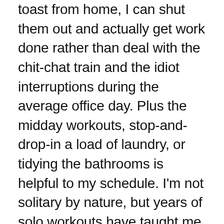toast from home, I can shut them out and actually get work done rather than deal with the chit-chat train and the idiot interruptions during the average office day. Plus the midday workouts, stop-and-drop-in a load of laundry, or tidying the bathrooms is helpful to my schedule. I'm not solitary by nature, but years of solo workouts have taught me to exist within myself and that while human contact is necessary it's the quality of it, not the quantity, that counts.
Patience, folks. Keep wearing those masks, do the distance when possible, get vaccinated (I got my first shot; second one is in two weeks, and thank you, Dolly Parton, for handing over a whole lot of money to make it happen for Moderna) and we will get through this. And there will be running, cycling, swimming, yoga, team sports and tears of joy on the other side.